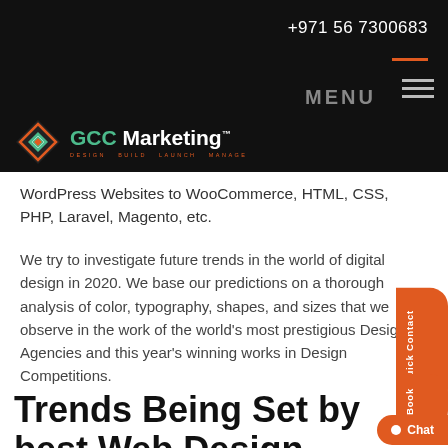+971 56 7300683
[Figure (logo): GCC Marketing logo with diamond/arrow icon in green and orange, text reading GCC Marketing with tagline DESIGN BUILD LAUNCH MANAGE]
WordPress Websites to WooCommerce, HTML, CSS, PHP, Laravel, Magento, etc.
We try to investigate future trends in the world of digital design in 2020. We base our predictions on a thorough analysis of color, typography, shapes, and sizes that we observe in the work of the world's most prestigious Design Agencies and this year's winning works in Design Competitions.
Trends Being Set by best Web Design Companies in